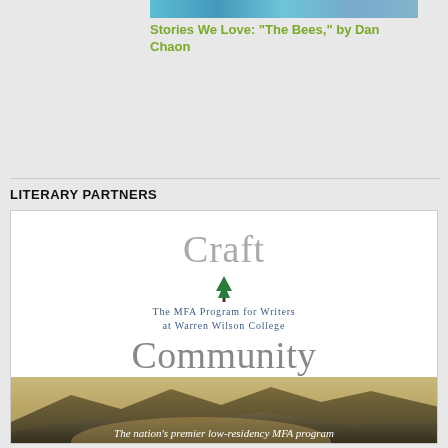[Figure (other): Top image strip with blue/teal tones and link text below reading 'Stories We Love: "The Bees," by Dan Chaon' in olive/green color]
LITERARY PARTNERS
[Figure (logo): Advertisement for Craft Community - The MFA Program for Writers at Warren Wilson College. White background with 'Craft' in large grey serif text, a green tree icon, text 'The MFA Program for Writers at Warren Wilson College' in blue small caps, then 'Community' in large grey serif text, followed by a mountain landscape photo with tagline 'The nation's premier low-residency MFA program' in white italic text.]